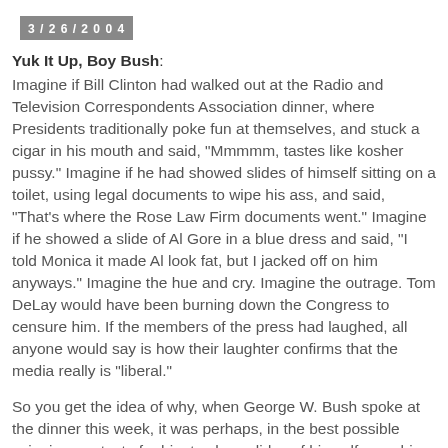3/26/2004
Yuk It Up, Boy Bush: Imagine if Bill Clinton had walked out at the Radio and Television Correspondents Association dinner, where Presidents traditionally poke fun at themselves, and stuck a cigar in his mouth and said, "Mmmmm, tastes like kosher pussy." Imagine if he had showed slides of himself sitting on a toilet, using legal documents to wipe his ass, and said, "That's where the Rose Law Firm documents went." Imagine if he showed a slide of Al Gore in a blue dress and said, "I told Monica it made Al look fat, but I jacked off on him anyways." Imagine the hue and cry. Imagine the outrage. Tom DeLay would have been burning down the Congress to censure him. If the members of the press had laughed, all anyone would say is how their laughter confirms that the media really is "liberal."
So you get the idea of why, when George W. Bush spoke at the dinner this week, it was perhaps, in the best possible spin, in poor taste for him to show slides of himself searching the Oval Office while Bush narrated, "Those weapons of